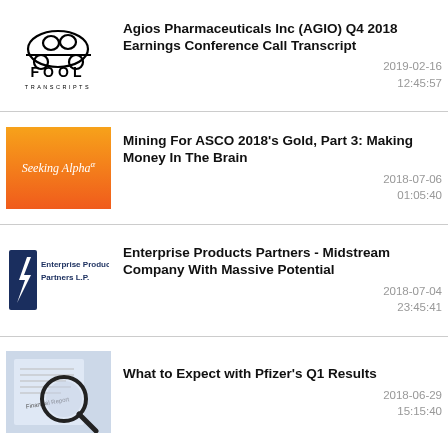[Figure (logo): Motley Fool Transcripts logo with FOOL text and cartoon car]
Agios Pharmaceuticals Inc (AGIO) Q4 2018 Earnings Conference Call Transcript
2019-02-16 12:45:57
[Figure (logo): Seeking Alpha logo on orange gradient background]
Mining For ASCO 2018's Gold, Part 3: Making Money In The Brain
2018-07-06 01:05:40
[Figure (logo): Enterprise Products Partners L.P. logo]
Enterprise Products Partners - Midstream Company With Massive Potential
2018-07-04 23:45:41
[Figure (photo): Financial Report document with magnifying glass on top]
What to Expect with Pfizer's Q1 Results
2018-06-29 15:15:40